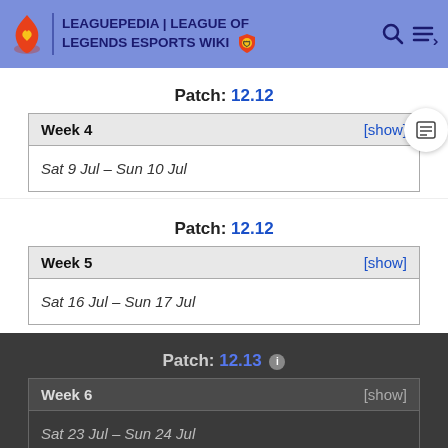LEAGUEPEDIA | LEAGUE OF LEGENDS ESPORTS WIKI
Patch: 12.12
| Week 4 | [show] |
| --- | --- |
| Sat 9 Jul – Sun 10 Jul |  |
Patch: 12.12
| Week 5 | [show] |
| --- | --- |
| Sat 16 Jul – Sun 17 Jul |  |
Patch: 12.13
| Week 6 | [show] |
| --- | --- |
| Sat 23 Jul – Sun 24 Jul |  |